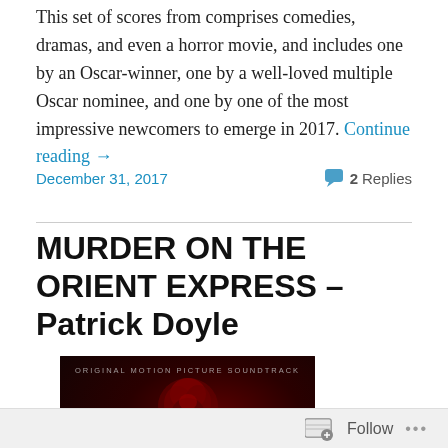This set of scores from comprises comedies, dramas, and even a horror movie, and includes one by an Oscar-winner, one by a well-loved multiple Oscar nominee, and one by one of the most impressive newcomers to emerge in 2017. Continue reading →
December 31, 2017
2 Replies
MURDER ON THE ORIENT EXPRESS – Patrick Doyle
[Figure (photo): Album cover for Murder on the Orient Express Original Motion Picture Soundtrack. Dark red/maroon background with floral/rose imagery. Text reads 'ORIGINAL MOTION PICTURE SOUNDTRACK' at top and 'MURDER ON THE' in blue neon-style lettering at the bottom.]
Follow